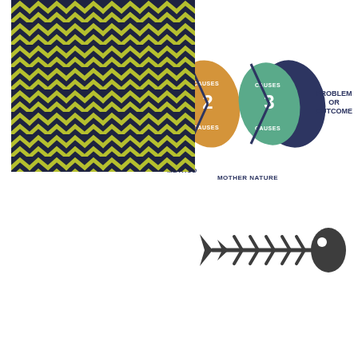[Figure (flowchart): Fishbone/Ishikawa diagram showing causes (Man, Measurement, Method, Mother Nature) connecting through numbered ellipses (1, 2, 3) with CAUSES labels to a fish head labeled PROBLEM OR OUTCOME]
[Figure (illustration): Herringbone/chevron pattern texture with dark navy blue background and yellow-green zigzag arrows forming a repeating pattern]
[Figure (illustration): Simple dark gray fishbone/Ishikawa diagram icon showing a fish skeleton with horizontal spine, diagonal bones, tail fin on left and fish head on right with a circular hole]